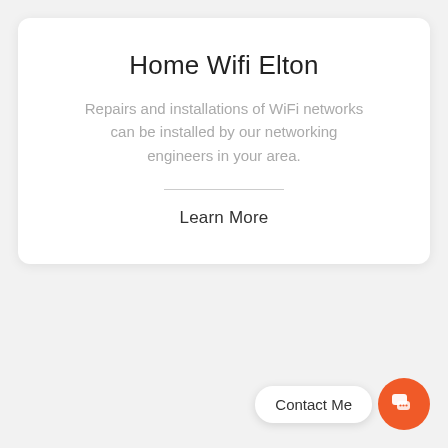Home Wifi Elton
Repairs and installations of WiFi networks can be installed by our networking engineers in your area.
Learn More
Contact Me